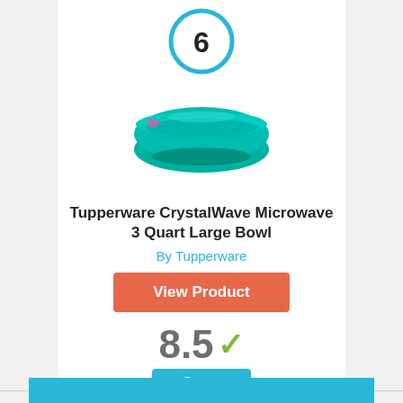[Figure (other): Rank number 6 inside a blue circle]
[Figure (photo): Tupperware CrystalWave teal microwave bowl product photo]
Tupperware CrystalWave Microwave 3 Quart Large Bowl
By Tupperware
View Product
8.5 ✓
Score
[Figure (other): Rank number 7 inside a blue circle]